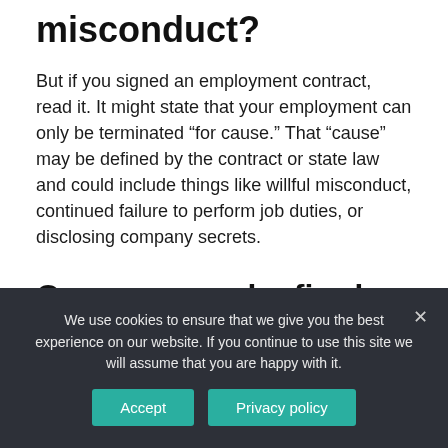misconduct?
But if you signed an employment contract, read it. It might state that your employment can only be terminated “for cause.” That “cause” may be defined by the contract or state law and could include things like willful misconduct, continued failure to perform job duties, or disclosing company secrets.
Can a person be fired for discussing labor issues?
We use cookies to ensure that we give you the best experience on our website. If you continue to use this site we will assume that you are happy with it.